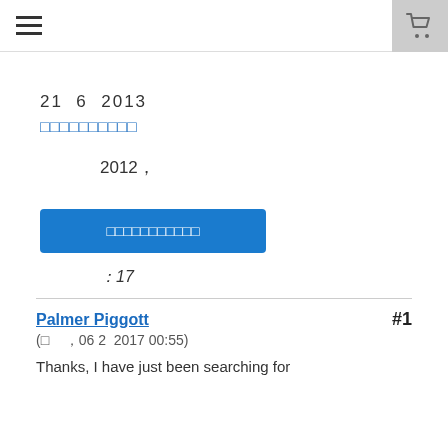≡  [cart icon]
21  6  2013
□□□□□□□□□□ (category link)
2012，
□□□□□□□□□□□ (button)
：17
Palmer Piggott  #1
(□，06 2  2017 00:55)

Thanks, I have just been searching for